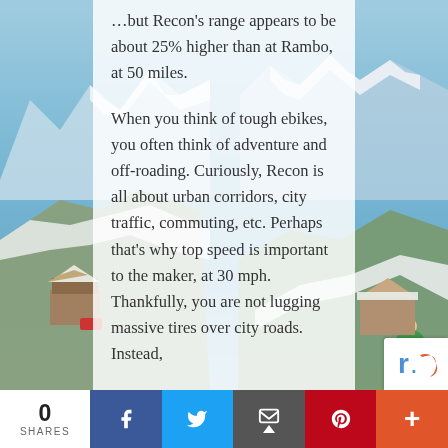[Figure (photo): Snowy mountain landscape with alpine village, ski slopes and mountains visible on left and right sides behind a semi-transparent white article text overlay panel]
...but Recon's range appears to be about 25% higher than at Rambo, at 50 miles.

When you think of tough ebikes, you often think of adventure and off-roading. Curiously, Recon is all about urban corridors, city traffic, commuting, etc. Perhaps that's why top speed is important to the maker, at 30 mph. Thankfully, you are not lugging massive tires over city roads. Instead,
0 SHARES | Facebook | Twitter | Email | Pinterest | +